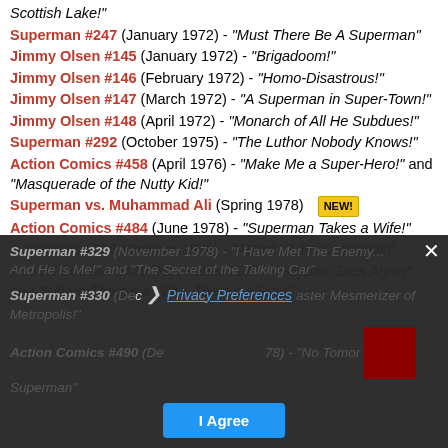Scottish Lake!"
Superman #247 (January 1972) - "Must There Be A Superman"
Jimmy Olsen #145 (January 1972) - "Brigadoom!"
Jimmy Olsen #146 (February 1972) - "Homo-Disastrous!"
Jimmy Olsen #147 (March 1972) - "A Superman in Super-Town!"
Jimmy Olsen #148 (April 1972) - "Monarch of All He Subdues!"
Superman #292 (October 1975) - "The Luthor Nobody Knows!"
Action Comics #458 (April 1976) - "Make Me a Super-Hero!" and "Masquerade of the Nutty Kid!"
Superman vs. Muhammad Ali (Spring 1978) NEW!
Action Comics #484 (June 1978) - "Superman Takes a Wife!"
Superman #328 (October 1978) - "Attack of the Kryptonoid"
Action Comics #489 (November 1978) - "Krypton Dies Again" and "Where There's a Will... There's a Fray"
Superman #329 (November 1978) - "I Have Met The Enemy... And He Is Me!" and "The Secret of the Talking Car"
Superman #330 (December 1978) - "The Master Mesmerizer of Metropolis!"
Action Comics #490 (December 1978) - "No Tomorrow for Superman"